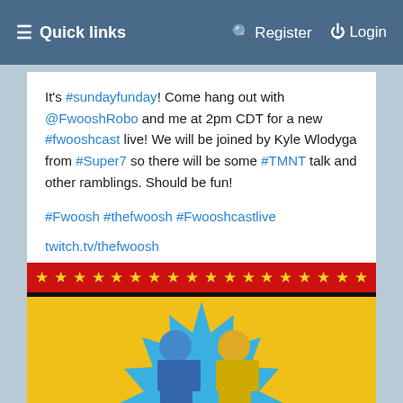≡ Quick links   Register   Login
It's #sundayfunday! Come hang out with @FwooshRobo and me at 2pm CDT for a new #fwooshcast live! We will be joined by Kyle Wlodyga from #Super7 so there will be some #TMNT talk and other ramblings. Should be fun!

#Fwoosh #thefwoosh #Fwooshcastlive

twitch.tv/thefwoosh
[Figure (illustration): The Fwoosh logo/banner image with red star bar at top, two cartoon superhero characters on a yellow background with blue starburst, text 'THE FWOOSH']